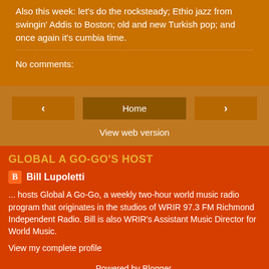Also this week: let's do the rocksteady; Ethio jazz from swingin' Addis to Boston; old and new Turkish pop; and once again it's cumbia time.
No comments:
Home
View web version
GLOBAL A GO-GO'S HOST
Bill Lupoletti
... hosts Global A Go-Go, a weekly two-hour world music radio program that originates in the studios of WRIR 97.3 FM Richmond Independent Radio. Bill is also WRIR's Assistant Music Director for World Music.
View my complete profile
Powered by Blogger.